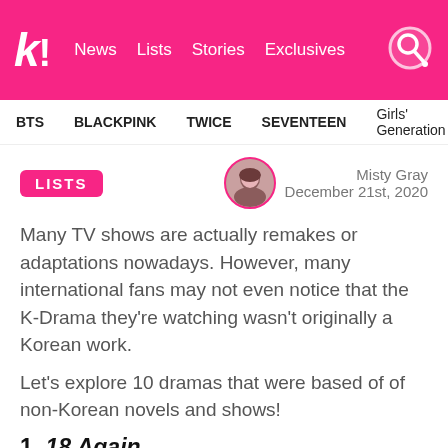kAL! News Lists Stories Exclusives
BTS BLACKPINK TWICE SEVENTEEN Girls' Generation
LISTS
Misty Gray
December 21st, 2020
Many TV shows are actually remakes or adaptations nowadays. However, many international fans may not even notice that the K-Drama they're watching wasn't originally a Korean work.
Let's explore 10 dramas that were based of of non-Korean novels and shows!
1. 18 Again